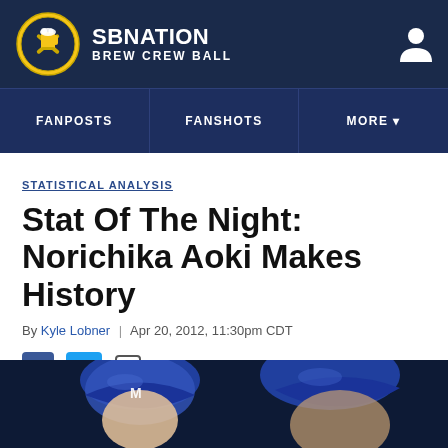SB Nation | Brew Crew Ball
FANPOSTS | FANSHOTS | MORE
STATISTICAL ANALYSIS
Stat Of The Night: Norichika Aoki Makes History
By Kyle Lobner | Apr 20, 2012, 11:30pm CDT
SHARE
[Figure (photo): Baseball players in Milwaukee Brewers blue helmets/caps]